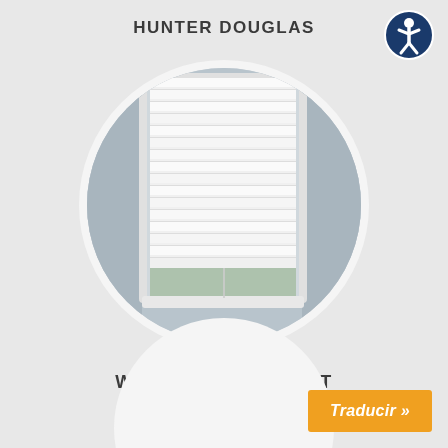HUNTER DOUGLAS
[Figure (logo): Accessibility icon - circle with person figure in dark blue]
[Figure (photo): Circular cropped photograph of white horizontal window blinds/shades on a window with light blue-grey wall background, shown partially raised]
WINDOW TREATMENT
[Figure (illustration): Partial white circle at the bottom of the page]
Traducir »